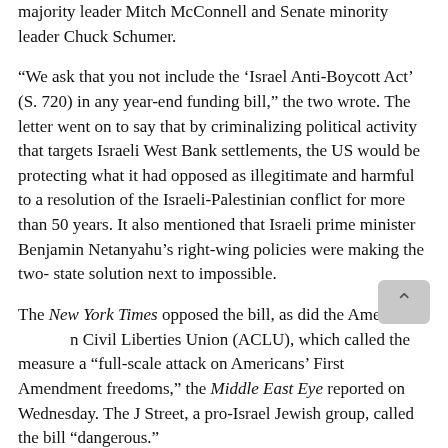majority leader Mitch McConnell and Senate minority leader Chuck Schumer.
“We ask that you not include the ‘Israel Anti-Boycott Act’ (S. 720) in any year-end funding bill,” the two wrote. The letter went on to say that by criminalizing political activity that targets Israeli West Bank settlements, the US would be protecting what it had opposed as illegitimate and harmful to a resolution of the Israeli-Palestinian conflict for more than 50 years. It also mentioned that Israeli prime minister Benjamin Netanyahu’s right-wing policies were making the two- state solution next to impossible.
The New York Times opposed the bill, as did the American Civil Liberties Union (ACLU), which called the measure a “full-scale attack on Americans’ First Amendment freedoms,” the Middle East Eye reported on Wednesday. The J Street, a pro-Israel Jewish group, called the bill “dangerous.”